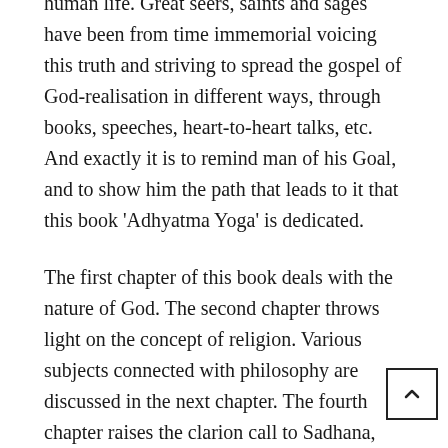human life. Great seers, saints and sages have been from time immemorial voicing this truth and striving to spread the gospel of God-realisation in different ways, through books, speeches, heart-to-heart talks, etc. And exactly it is to remind man of his Goal, and to show him the path that leads to it that this book 'Adhyatma Yoga' is dedicated.
The first chapter of this book deals with the nature of God. The second chapter throws light on the concept of religion. Various subjects connected with philosophy are discussed in the next chapter. The fourth chapter raises the clarion call to Sadhana, pointing out to man the false, perishable nature of the world, and the glory and sublimity of a life in Spirit. The fifth chapter is rich in profuse instructions to aspirants on their path of Sadhana, and will be